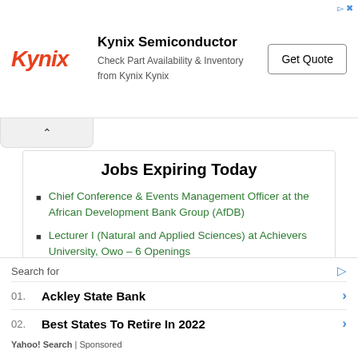[Figure (logo): Kynix Semiconductor advertisement banner with Kynix logo, text 'Check Part Availability & Inventory from Kynix Kynix', and Get Quote button]
Jobs Expiring Today
Chief Conference & Events Management Officer at the African Development Bank Group (AfDB)
Lecturer I (Natural and Applied Sciences) at Achievers University, Owo – 6 Openings
Analyst – Fiber Sales Development, Fixed Broadband at MTN Nigeria
Search for
01. Ackley State Bank
02. Best States To Retire In 2022
Yahoo! Search | Sponsored